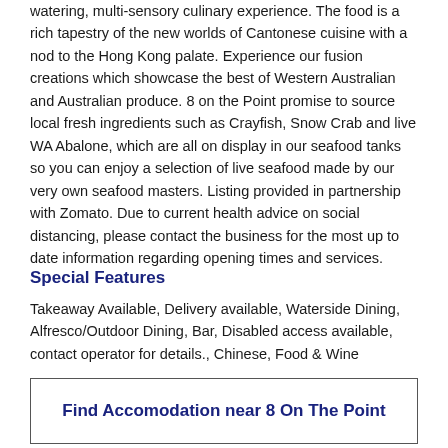watering, multi-sensory culinary experience. The food is a rich tapestry of the new worlds of Cantonese cuisine with a nod to the Hong Kong palate. Experience our fusion creations which showcase the best of Western Australian and Australian produce. 8 on the Point promise to source local fresh ingredients such as Crayfish, Snow Crab and live WA Abalone, which are all on display in our seafood tanks so you can enjoy a selection of live seafood made by our very own seafood masters. Listing provided in partnership with Zomato. Due to current health advice on social distancing, please contact the business for the most up to date information regarding opening times and services.
Special Features
Takeaway Available, Delivery available, Waterside Dining, Alfresco/Outdoor Dining, Bar, Disabled access available, contact operator for details., Chinese, Food & Wine
Find Accomodation near 8 On The Point